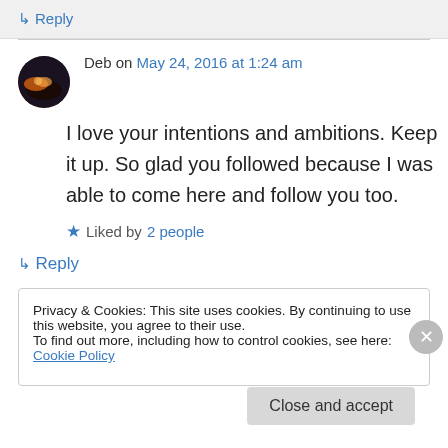↳ Reply
Deb on May 24, 2016 at 1:24 am
I love your intentions and ambitions. Keep it up. So glad you followed because I was able to come here and follow you too.
★ Liked by 2 people
↳ Reply
Privacy & Cookies: This site uses cookies. By continuing to use this website, you agree to their use.
To find out more, including how to control cookies, see here: Cookie Policy
Close and accept